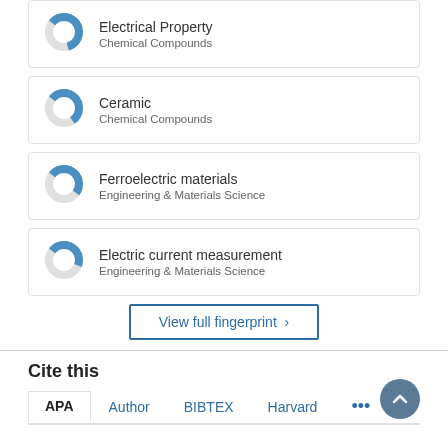[Figure (donut-chart): Donut chart showing partial fill ~60% blue for Electrical Property]
[Figure (donut-chart): Donut chart showing partial fill ~55% blue for Ceramic]
[Figure (donut-chart): Donut chart showing partial fill ~50% blue for Ferroelectric materials]
[Figure (donut-chart): Donut chart showing partial fill ~45% blue for Electric current measurement]
View full fingerprint >
Cite this
APA  Author  BIBTEX  Harvard  ...